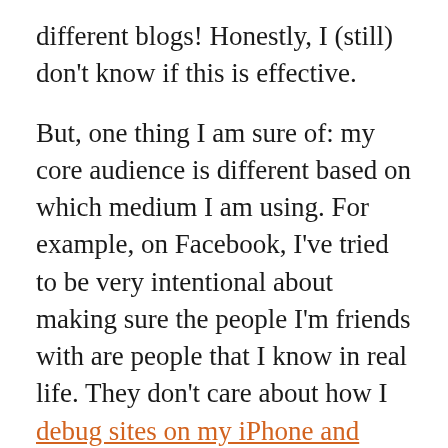different blogs! Honestly, I (still) don't know if this is effective.
But, one thing I am sure of: my core audience is different based on which medium I am using. For example, on Facebook, I've tried to be very intentional about making sure the people I'm friends with are people that I know in real life. They don't care about how I debug sites on my iPhone and iPad, but they do want to know about my trip to Rio this summer. If I keep posting geek stuff that's over their head, pretty soon, they'll start tuning me out and